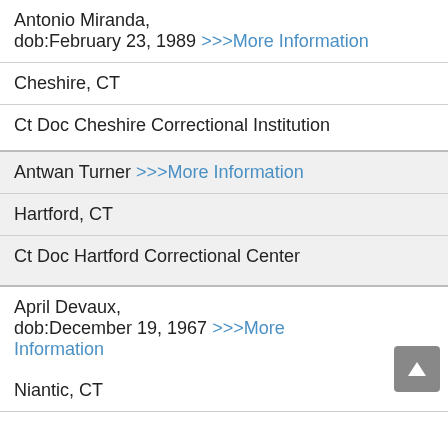Antonio Miranda, dob:February 23, 1989 >>>More Information
Cheshire, CT
Ct Doc Cheshire Correctional Institution
Antwan Turner >>>More Information
Hartford, CT
Ct Doc Hartford Correctional Center
April Devaux, dob:December 19, 1967 >>>More Information
Niantic, CT